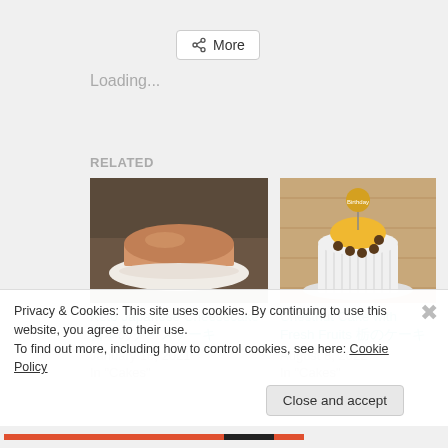< More
Loading...
RELATED
[Figure (photo): A round Japanese cheesecake on a white plate on a dark wooden table]
Keto Japanese Cheesecake 日本のチーズケーキ
January 18, 2021
In "Cakes"
[Figure (photo): A white cylindrical layered cake decorated with yellow cream and chocolate balls, with a birthday topper, on a wooden table]
Chestnut Cake with Fresh Fruits 栗のケーキ
August 8, 2022
In "Cakes"
Privacy & Cookies: This site uses cookies. By continuing to use this website, you agree to their use.
To find out more, including how to control cookies, see here: Cookie Policy
Close and accept